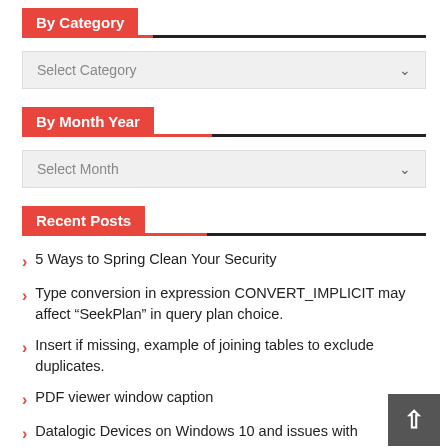By Category
Select Category
By Month Year
Select Month
Recent Posts
5 Ways to Spring Clean Your Security
Type conversion in expression CONVERT_IMPLICIT may affect “SeekPlan” in query plan choice.
Insert if missing, example of joining tables to exclude duplicates.
PDF viewer window caption
Datalogic Devices on Windows 10 and issues with